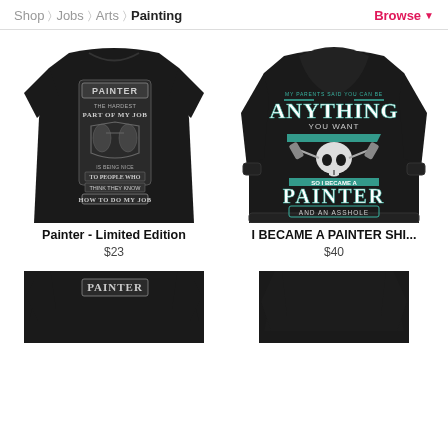Shop > Jobs > Arts > Painting   Browse
[Figure (photo): Black t-shirt back view with 'PAINTER THE HARDEST PART OF MY JOB IS BEING NICE TO PEOPLE WHO THINK THEY KNOW HOW TO DO MY JOB' graphic]
[Figure (photo): Black hoodie back view with skull graphic and 'MY PARENTS SAID YOU CAN BE ANYTHING YOU WANT SO I BECAME A PAINTER AND AN ASSHOLE' text in teal and white]
Painter - Limited Edition
$23
I BECAME A PAINTER SHI...
$40
[Figure (photo): Partial view of black t-shirt with PAINTER graphic, bottom half cut off]
[Figure (photo): Partial view of black garment, bottom half cut off]